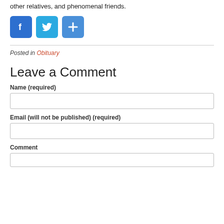other relatives, and phenomenal friends.
[Figure (other): Social sharing buttons: Facebook (blue), Twitter (light blue), and a plus/share button (blue)]
Posted in Obituary
Leave a Comment
Name (required)
Email (will not be published) (required)
Comment